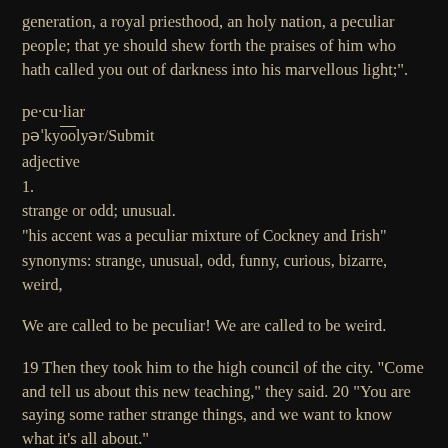generation, a royal priesthood, an holy nation, a peculiar people; that ye should shew forth the praises of him who hath called you out of darkness into his marvellous light;".
pe·cu·liar
pəˈkyōōlyər/Submit
adjective
1.
strange or odd; unusual.
"his accent was a peculiar mixture of Cockney and Irish"
synonyms: strange, unusual, odd, funny, curious, bizarre, weird,
We are called to be peculiar! We are called to be weird.
19 Then they took him to the high council of the city. "Come and tell us about this new teaching," they said. 20 "You are saying some rather strange things, and we want to know what it's all about."